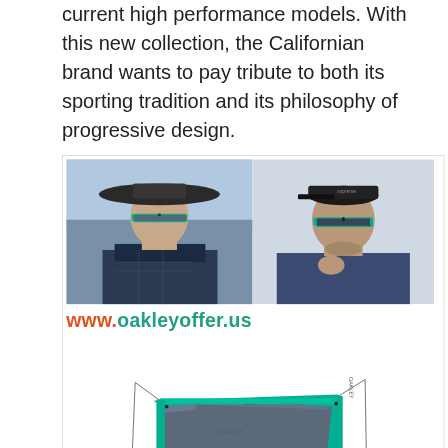current high performance models. With this new collection, the Californian brand wants to pay tribute to both its sporting tradition and its philosophy of progressive design.
[Figure (photo): Two photos of people wearing Oakley sunglasses (teal/mint frame with dark shield lens) at top; below the photos is the URL www.oakleyoffer.us; at the bottom is a product shot of teal-framed Oakley shield sunglasses with black arms on white background.]